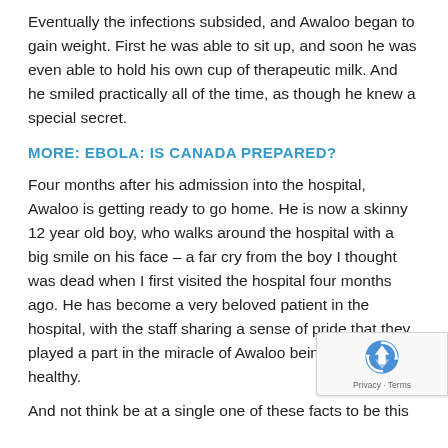Eventually the infections subsided, and Awaloo began to gain weight. First he was able to sit up, and soon he was even able to hold his own cup of therapeutic milk. And he smiled practically all of the time, as though he knew a special secret.
MORE: EBOLA: IS CANADA PREPARED?
Four months after his admission into the hospital, Awaloo is getting ready to go home. He is now a skinny 12 year old boy, who walks around the hospital with a big smile on his face – a far cry from the boy I thought was dead when I first visited the hospital four months ago. He has become a very beloved patient in the hospital, with the staff sharing a sense of pride that they played a part in the miracle of Awaloo being alive and healthy.
And not think be at a single one of these facts to be this...